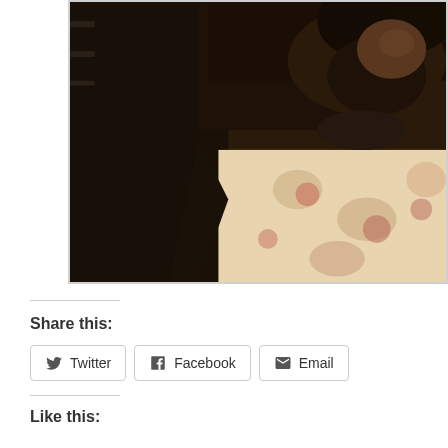[Figure (photo): Close-up photograph of a person with dark curly hair and a beard, wearing a dark jacket over a floral patterned shirt/blouse. The image is cropped to show mainly the lower face/neck and upper torso. The photo appears vintage or lo-fi in quality.]
Share this:
Twitter
Facebook
Email
Like this: